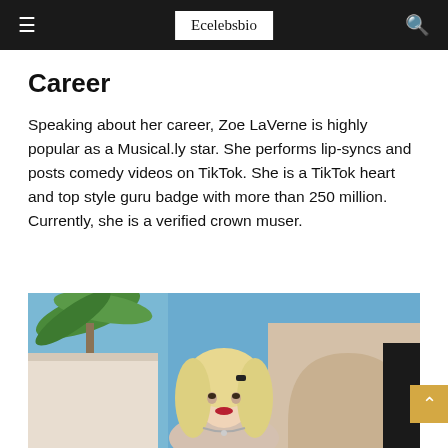≡  Ecelebsbio  🔍
Career
Speaking about her career, Zoe LaVerne is highly popular as a Musical.ly star. She performs lip-syncs and posts comedy videos on TikTok. She is a TikTok heart and top style guru badge with more than 250 million. Currently, she is a verified crown muser.
[Figure (photo): Photo of Zoe LaVerne, a young blonde woman with long hair, red lipstick, and a necklace, standing outdoors near an arched wall with palm trees and blue sky in the background.]